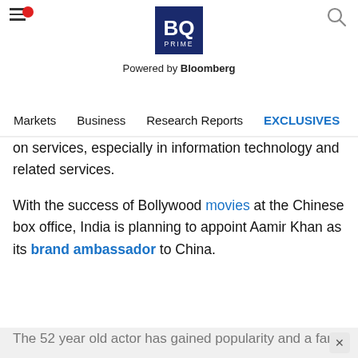BQ PRIME — Powered by Bloomberg
Markets | Business | Research Reports | EXCLUSIVES | Economy
on services, especially in information technology and related services.
With the success of Bollywood movies at the Chinese box office, India is planning to appoint Aamir Khan as its brand ambassador to China.
The 52 year old actor has gained popularity and a fan